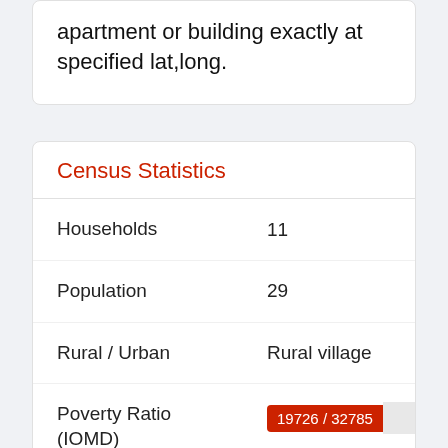apartment or building exactly at specified lat,long.
Census Statistics
|  |  |
| --- | --- |
| Households | 11 |
| Population | 29 |
| Rural / Urban | Rural village |
| Poverty Ratio (IOMD) | 19726 / 32785 |